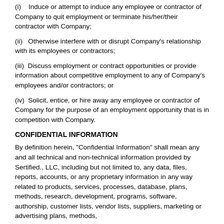(i)   Induce or attempt to induce any employee or contractor of Company to quit employment or terminate his/her/their contractor with Company;
(ii)   Otherwise interfere with or disrupt Company's relationship with its employees or contractors;
(iii)  Discuss employment or contract opportunities or provide information about competitive employment to any of Company's employees and/or contractors; or
(iv)  Solicit, entice, or hire away any employee or contractor of Company for the purpose of an employment opportunity that is in competition with Company.
CONFIDENTIAL INFORMATION
By definition herein, "Confidential Information" shall mean any and all technical and non-technical information provided by Sertified., LLC, including but not limited to, any data, files, reports, accounts, or any proprietary information in any way related to products, services, processes, database, plans, methods, research, development, programs, software, authorship, customer lists, vendor lists, suppliers, marketing or advertising plans, methods,